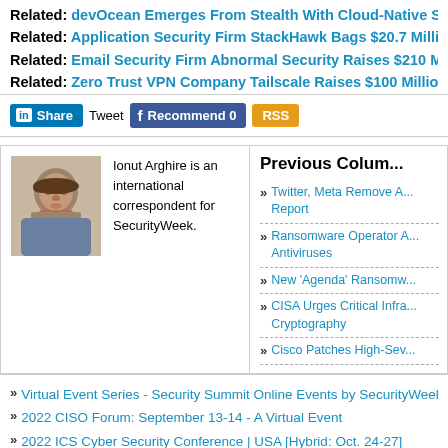Related: devOcean Emerges From Stealth With Cloud-Native Se...
Related: Application Security Firm StackHawk Bags $20.7 Millio...
Related: Email Security Firm Abnormal Security Raises $210 Mi...
Related: Zero Trust VPN Company Tailscale Raises $100 Million...
Ionut Arghire is an international correspondent for SecurityWeek.
Previous Colum...
Twitter, Meta Remove A... Report
Ransomware Operator A... Antiviruses
New 'Agenda' Ransomw...
CISA Urges Critical Infra... Cryptography
Cisco Patches High-Sev...
Virtual Event Series - Security Summit Online Events by SecurityWeek
2022 CISO Forum: September 13-14 - A Virtual Event
2022 ICS Cyber Security Conference | USA [Hybrid: Oct. 24-27]
2022 Singapore/APAC ICS Cyber Security Conference]